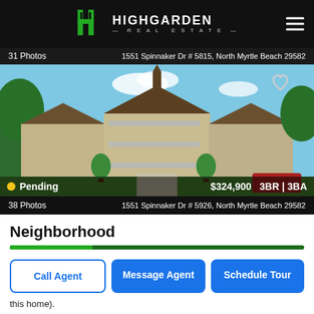Highgarden Real Estate
31 Photos   1551 Spinnaker Dr # 5815, North Myrtle Beach 29582
[Figure (photo): Exterior photo of a multi-story condominium building with balconies, peaked roofs, and landscaping. Status: Pending. Price: $324,900, 3BR | 3BA]
38 Photos   1551 Spinnaker Dr # 5926, North Myrtle Beach 29582
Neighborhood
Call Agent
Message Agent
Schedule Tour
this home).